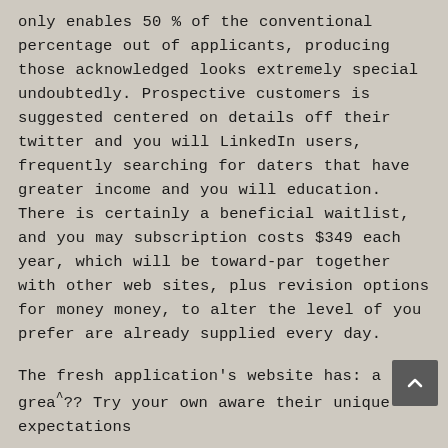only enables 50 % of the conventional percentage out of applicants, producing those acknowledged looks extremely special undoubtedly. Prospective customers is suggested centered on details off their twitter and you will LinkedIn users, frequently searching for daters that have greater income and you will education. There is certainly a beneficial waitlist, and you may subscription costs $349 each year, which will be toward-par together with other web sites, plus revision options for money money, to alter the level of you prefer are already supplied every day.
The fresh application's website has: a great?? Try your own aware their unique expectations